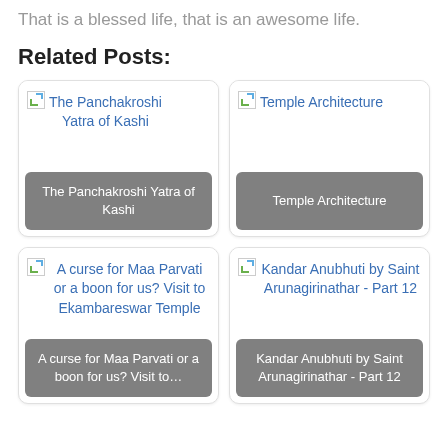That is a blessed life, that is an awesome life.
Related Posts:
[Figure (screenshot): Card with broken image and link text: The Panchakroshi Yatra of Kashi, with grey label overlay]
[Figure (screenshot): Card with broken image and link text: Temple Architecture, with grey label overlay]
[Figure (screenshot): Card with broken image and link text: A curse for Maa Parvati or a boon for us? Visit to Ekambareswar Temple, with grey label overlay]
[Figure (screenshot): Card with broken image and link text: Kandar Anubhuti by Saint Arunagirinathar - Part 12, with grey label overlay]